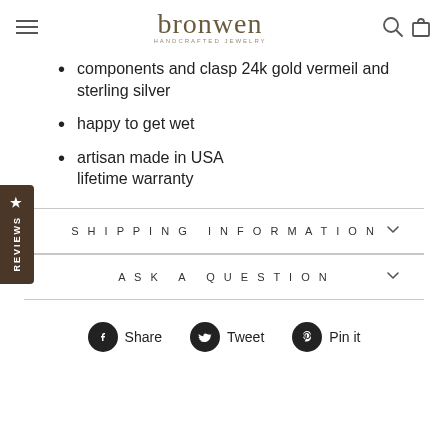bronwen HANDCRAFTED JEWELRY
components and clasp 24k gold vermeil and sterling silver
happy to get wet
artisan made in USA
lifetime warranty
SHIPPING INFORMATION
ASK A QUESTION
Share  Tweet  Pin it